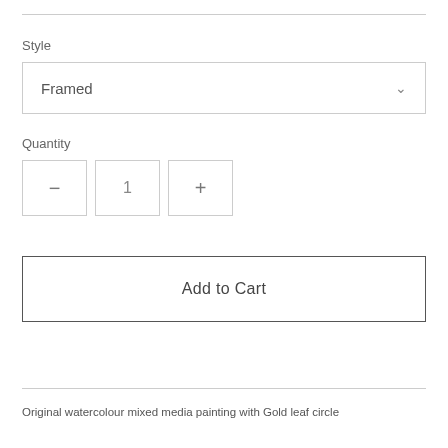Style
Framed
Quantity
— 1 +
Add to Cart
Original watercolour mixed media painting with Gold leaf circle